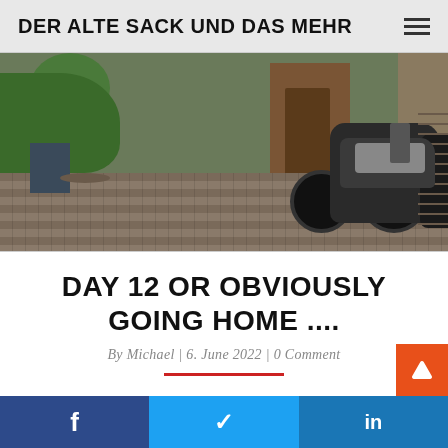DER ALTE SACK UND DAS MEHR
[Figure (photo): Courtyard with two Harley-Davidson motorcycles parked on cobblestone paving, with plants and outdoor furniture to the left, and a wooden building/garage in the background]
DAY 12 OR OBVIOUSLY GOING HOME ....
By Michael | 6. June 2022 | 0 Comment